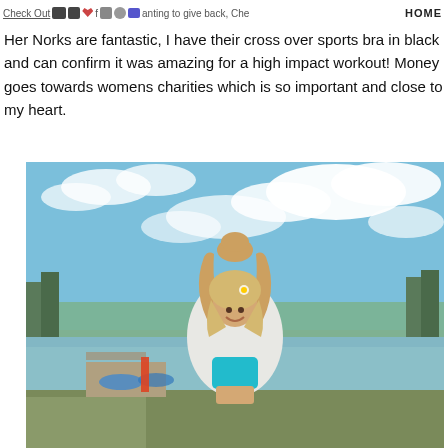Check Out [icons] wanting to give back, Che HOME
Her Norks are fantastic, I have their cross over sports bra in black and can confirm it was amazing for a high impact workout! Money goes towards womens charities which is so important and close to my heart.
[Figure (photo): A blonde woman in a teal sports bra and white jacket doing a yoga pose with arms raised above her head, standing outdoors by a lake or river with trees and a partly cloudy blue sky in the background.]